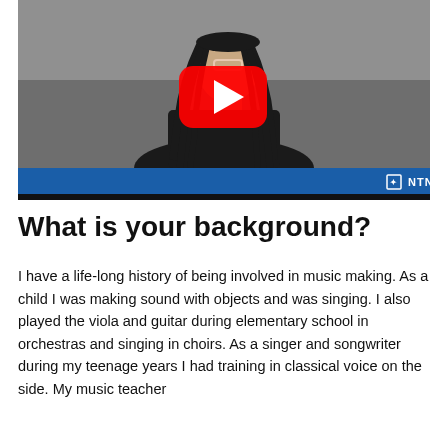[Figure (screenshot): YouTube video thumbnail showing a woman with long braids wearing glasses and a black top, with a red YouTube play button overlay. NTNU logo visible in blue bar at bottom of video player.]
What is your background?
I have a life-long history of being involved in music making. As a child I was making sound with objects and was singing. I also played the viola and guitar during elementary school in orchestras and singing in choirs. As a singer and songwriter during my teenage years I had training in classical voice on the side. My music teacher